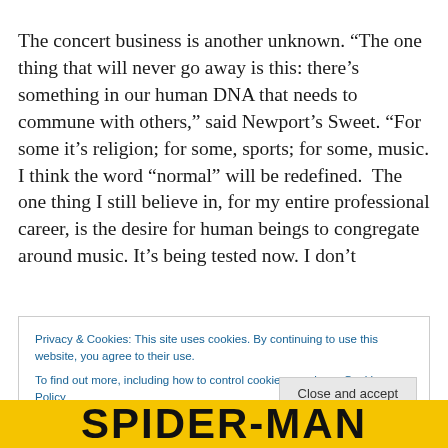The concert business is another unknown. “The one thing that will never go away is this: there’s something in our human DNA that needs to commune with others,” said Newport’s Sweet. “For some it’s religion; for some, sports; for some, music. I think the word “normal” will be redefined.  The one thing I still believe in, for my entire professional career, is the desire for human beings to congregate around music. It’s being tested now. I don’t
Privacy & Cookies: This site uses cookies. By continuing to use this website, you agree to their use.
To find out more, including how to control cookies, see here: Cookie Policy
Close and accept
SPIDER-MAN